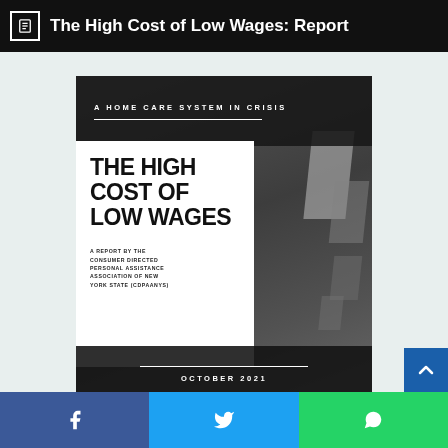The High Cost of Low Wages: Report
[Figure (illustration): Cover page of a report titled 'The High Cost of Low Wages' by the Consumer Directed Personal Assistance Association of New York State (CDPAANYS), subtitled 'A Home Care System in Crisis', dated October 2021. White text box overlaid on dark photo background with geometric shapes.]
Share on Facebook | Share on Twitter | Share on WhatsApp